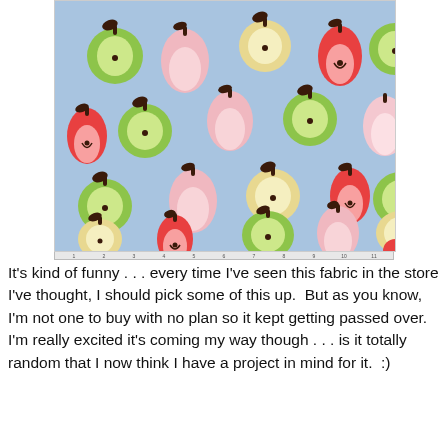[Figure (photo): A light blue fabric with a repeating pattern of stylized apples and pears in green, red/orange, pink, and cream/yellow, with dark brown stems and leaves.]
It's kind of funny . . . every time I've seen this fabric in the store I've thought, I should pick some of this up.  But as you know, I'm not one to buy with no plan so it kept getting passed over.  I'm really excited it's coming my way though . . . is it totally random that I now think I have a project in mind for it.  :)